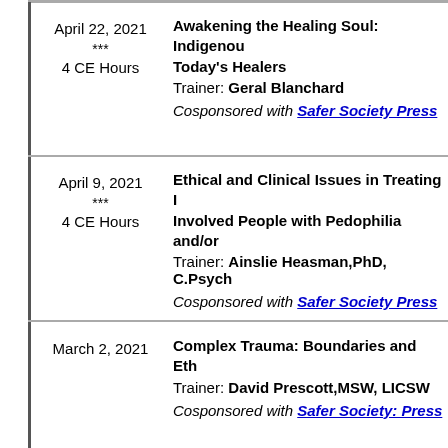April 22, 2021
***
4 CE Hours
Awakening the Healing Soul: Indigenous Today's Healers
Trainer: Geral Blanchard
Cosponsored with Safer Society Press
April 9, 2021
***
4 CE Hours
Ethical and Clinical Issues in Treating Involved People with Pedophilia and/or
Trainer: Ainslie Heasman,PhD, C.Psych
Cosponsored with Safer Society Press
March 2, 2021
Complex Trauma: Boundaries and Ethics
Trainer: David Prescott,MSW, LICSW
Cosponsored with Safer Society: Press